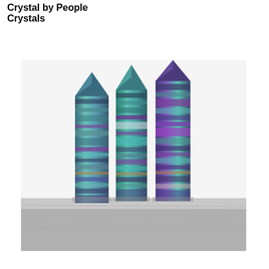Crystal by People Crystals
[Figure (photo): Three tall fluorite crystal obelisk towers with banded purple, teal/green, and blue stripes standing upright on a gray wooden surface against a white background.]